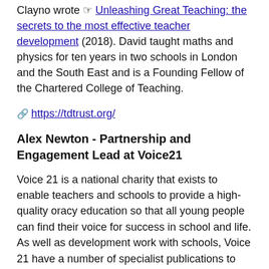Clayno wrote ☞ Unleashing Great Teaching: the secrets to the most effective teacher development (2018). David taught maths and physics for ten years in two schools in London and the South East and is a Founding Fellow of the Chartered College of Teaching.
🔗 https://tdtrust.org/
Alex Newton - Partnership and Engagement Lead at Voice21
Voice 21 is a national charity that exists to enable teachers and schools to provide a high-quality oracy education so that all young people can find their voice for success in school and life. As well as development work with schools, Voice 21 have a number of specialist publications to support schools working to develop oracy. 📄 The State of Speaking in Our Schools (2016) sets out the case for reform; 🔗 Transform Teaching and Learning